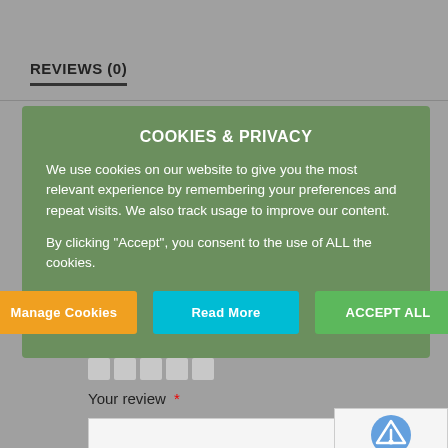REVIEWS (0)
[Figure (screenshot): Cookie consent dialog overlay on a website review page. Green background panel with title 'COOKIES & PRIVACY', body text about cookie usage, and three buttons: 'Manage Cookies' (orange), 'Read More' (cyan), 'ACCEPT ALL' (green).]
Your review *